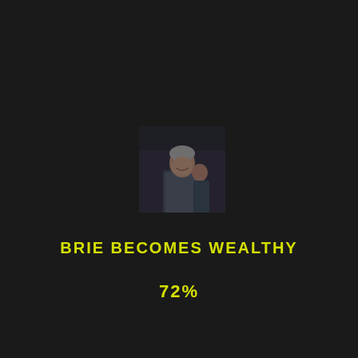[Figure (photo): Small dark photo of a person smiling, appears to be an elderly man, dimly lit]
BRIE BECOMES WEALTHY
72%